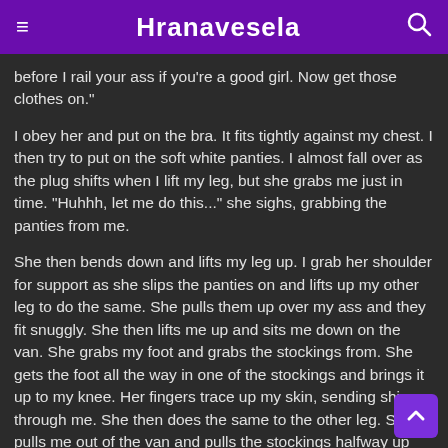Hranavesela
before I rail your ass if you're a good girl. Now get those clothes on."
I obey her and put on the bra. It fits tightly against my chest. I then try to put on the soft white panties. I almost fall over as the plug shifts when I lift my leg, but she grabs me just in time. "Huhhh, let me do this..." she sighs, grabbing the panties from me.
She then bends down and lifts my leg up. I grab her shoulder for support as she slips the panties on and lifts up my other leg to do the same. She pulls them up over my ass and they fit snuggly. She then lifts me up and sits me down on the van. She grabs my foot and grabs the stockings from. She gets the foot all the way in one of the stockings and brings it up to my knee. Her fingers trace up my skin, sending shivers through me. She then does the same to the other leg. She pulls me out of the van and pulls the stockings halfway up my thighs. I look up into her eyes and for a split second, I see a hint of compassion as looks down at me.
She grabs the skirt from me and bends down. I lift my leg up as I grab her should once more and allow her slip it on and I do the same for the for the other leg. She